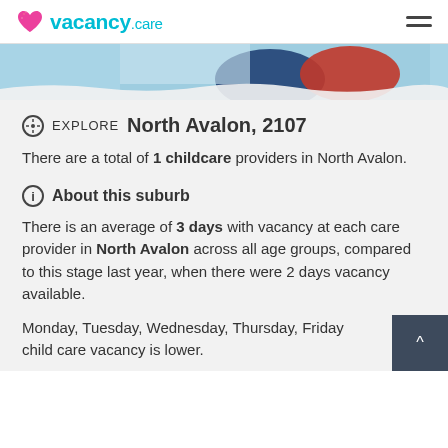vacancy.care
[Figure (photo): Partial view of children in winter clothing, cropped photo strip]
Explore North Avalon, 2107
There are a total of 1 childcare providers in North Avalon.
About this suburb
There is an average of 3 days with vacancy at each care provider in North Avalon across all age groups, compared to this stage last year, when there were 2 days vacancy available.
Monday, Tuesday, Wednesday, Thursday, Friday child care vacancy is lower.